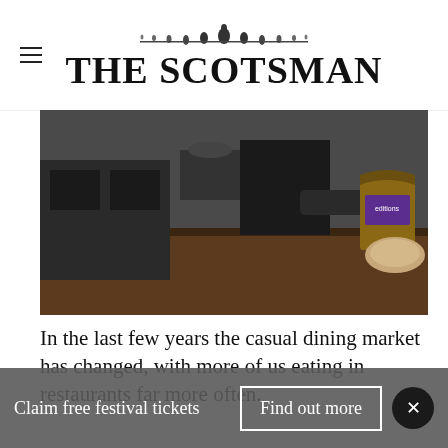THE SCOTSMAN
[Figure (photo): A person in a dark apron working in a kitchen, handling a brown paper delivery bag with a purple 'editions' logo label on a counter.]
In the last few years the casual dining market has changed, with more of us eating in restaurants far more often.
This has been coupled with a huge rise in bricks and mortar city restaurants offering to bring their hot food to the customer's door – eating out while staying in – facilitated by
Claim free festival tickets   Find out more   ×